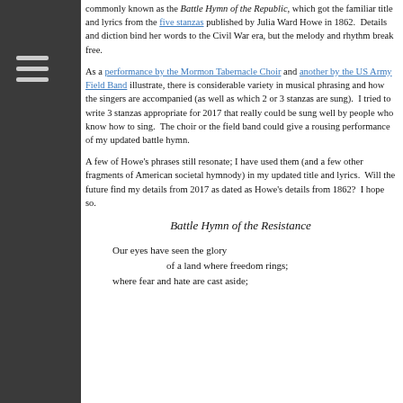commonly known as the Battle Hymn of the Republic, which got the familiar title and lyrics from the five stanzas published by Julia Ward Howe in 1862.  Details and diction bind her words to the Civil War era, but the melody and rhythm break free.
As a performance by the Mormon Tabernacle Choir and another by the US Army Field Band illustrate, there is considerable variety in musical phrasing and how the singers are accompanied (as well as which 2 or 3 stanzas are sung).  I tried to write 3 stanzas appropriate for 2017 that really could be sung well by people who know how to sing.  The choir or the field band could give a rousing performance of my updated battle hymn.
A few of Howe's phrases still resonate; I have used them (and a few other fragments of American societal hymnody) in my updated title and lyrics.  Will the future find my details from 2017 as dated as Howe's details from 1862?  I hope so.
Battle Hymn of the Resistance
Our eyes have seen the glory
of a land where freedom rings;
where fear and hate are cast aside;